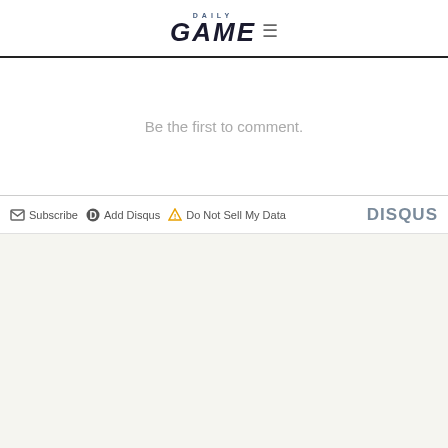DAILY GAME
Be the first to comment.
Subscribe  Add Disqus  Do Not Sell My Data  DISQUS